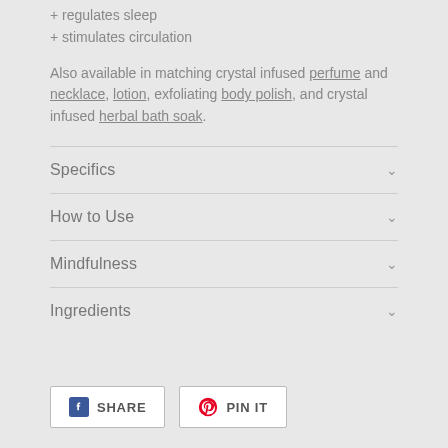+ regulates sleep
+ stimulates circulation
Also available in matching crystal infused perfume and necklace, lotion, exfoliating body polish, and crystal infused herbal bath soak.
Specifics
How to Use
Mindfulness
Ingredients
SHARE  PIN IT